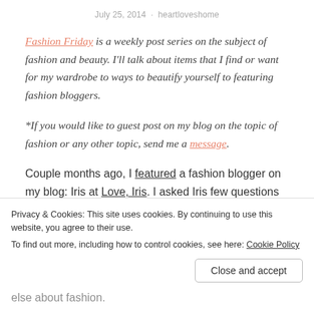July 25, 2014  ·  heartloveshome
Fashion Friday is a weekly post series on the subject of fashion and beauty. I'll talk about items that I find or want for my wardrobe to ways to beautify yourself to featuring fashion bloggers.
*If you would like to guest post on my blog on the topic of fashion or any other topic, send me a message.
Couple months ago, I featured a fashion blogger on my blog: Iris at Love, Iris. I asked Iris few questions about
Privacy & Cookies: This site uses cookies. By continuing to use this website, you agree to their use.
To find out more, including how to control cookies, see here: Cookie Policy
Close and accept
else about fashion.